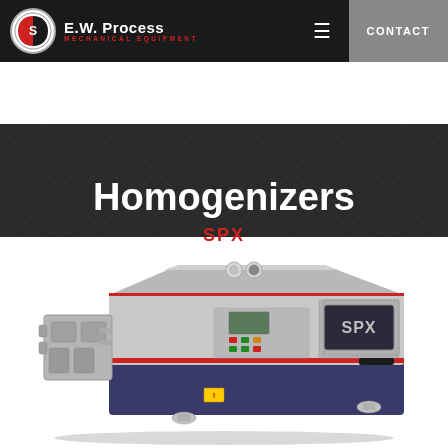E.W. Process MECHANICAL EQUIPMENT | CONTACT
Homogenizers
SPX
[Figure (photo): SPX Homogenizer machine — a large industrial homogenizer unit in silver/grey and dark blue color, with control panel, SPX branding on the front panel, and mechanical components visible on the left side including pump heads and tubing connections.]